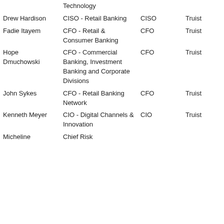| Name | Title | Role | Organization |
| --- | --- | --- | --- |
| Drew Hardison | CISO - Retail Banking | CISO | Truist |
| Fadie Itayem | CFO - Retail & Consumer Banking | CFO | Truist |
| Hope Dmuchowski | CFO - Commercial Banking, Investment Banking and Corporate Divisions | CFO | Truist |
| John Sykes | CFO - Retail Banking Network | CFO | Truist |
| Kenneth Meyer | CIO - Digital Channels & Innovation | CIO | Truist |
| Micheline | Chief Risk |  |  |